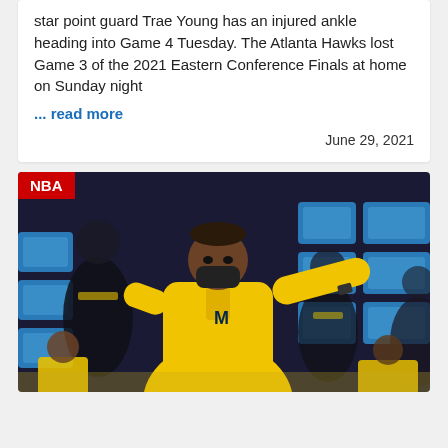star point guard Trae Young has an injured ankle heading into Game 4 Tuesday. The Atlanta Hawks lost Game 3 of the 2021 Eastern Conference Finals at home on Sunday night
... read more
June 29, 2021
[Figure (photo): A basketball coach wearing a yellow Michigan long-sleeve pullover with the M logo, pointing with his right arm outstretched, wearing a mask, with blue arena chairs and other yellow-clad staff visible in the background. An NBA red badge is in the top-left corner.]